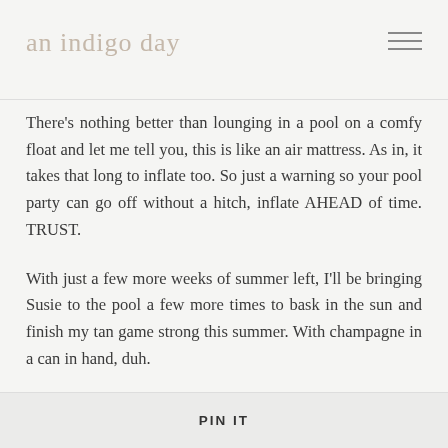an indigo day
There's nothing better than lounging in a pool on a comfy float and let me tell you, this is like an air mattress. As in, it takes that long to inflate too. So just a warning so your pool party can go off without a hitch, inflate AHEAD of time. TRUST.
With just a few more weeks of summer left, I'll be bringing Susie to the pool a few more times to bask in the sun and finish my tan game strong this summer. With champagne in a can in hand, duh.
photos by JNelly
PIN IT